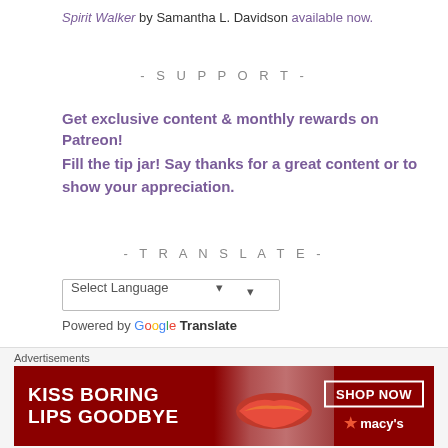Spirit Walker by Samantha L. Davidson available now.
- SUPPORT -
Get exclusive content & monthly rewards on Patreon!
Fill the tip jar! Say thanks for a great content or to show your appreciation.
- TRANSLATE -
[Figure (other): Google Translate widget with language selector dropdown and 'Powered by Google Translate' text]
- INSTAGRAM -
[Figure (other): Close (X) button circle icon]
Advertisements
[Figure (other): Advertisement banner for Macy's: KISS BORING LIPS GOODBYE with SHOP NOW button and Macy's star logo]